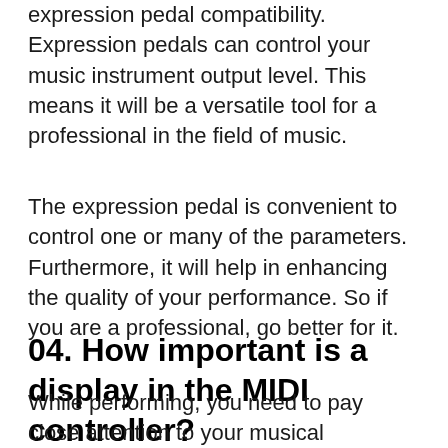expression pedal compatibility. Expression pedals can control your music instrument output level. This means it will be a versatile tool for a professional in the field of music.
The expression pedal is convenient to control one or many of the parameters. Furthermore, it will help in enhancing the quality of your performance. So if you are a professional, go better for it.
04. How important is a display in the MIDI controller?
While performing, you need to pay close attention to your musical instrument.